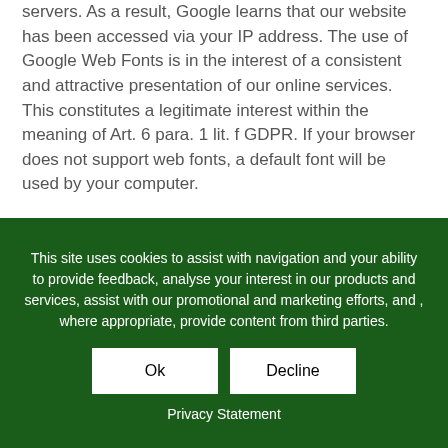servers. As a result, Google learns that our website has been accessed via your IP address. The use of Google Web Fonts is in the interest of a consistent and attractive presentation of our online services. This constitutes a legitimate interest within the meaning of Art. 6 para. 1 lit. f GDPR. If your browser does not support web fonts, a default font will be used by your computer.

US-based Google Inc. is certified under the US Privacy Shield, which ensures compliance with the level of data...
This site uses cookies to assist with navigation and your ability to provide feedback, analyse your interest in our products and services, assist with our promotional and marketing efforts, and , where appropriate, provide content from third parties.
Ok
Decline
Privacy Statement